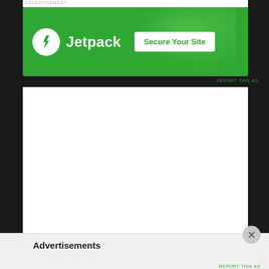[Figure (screenshot): Jetpack advertisement banner with green background showing Jetpack logo (white circle with lightning bolt) and 'Jetpack' text in white, with a 'Secure Your Site' button on the right]
REPORT THIS AD
Advertisements
REPORT THIS AD